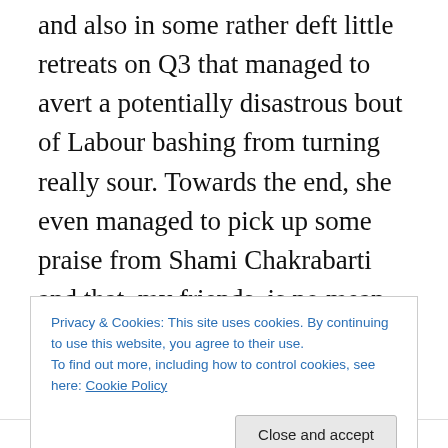and also in some rather deft little retreats on Q3 that managed to avert a potentially disastrous bout of Labour bashing from turning really sour. Towards the end, she even managed to pick up some praise from Shami Chakrabarti and that, my friends, is no mean feat. Sure, the crowd didn't go wild for her, but she's never been a favourite with the audience, what with being so jagged around the edges (although her “grubby speed dating” line went down very well with them) and Labour are very much in the background at the moment so I’d say that it was a pretty good performance. However, there is a caveat to all
Privacy & Cookies: This site uses cookies. By continuing to use this website, you agree to their use.
To find out more, including how to control cookies, see here: Cookie Policy
with the Labour motion on tax exemptions in Q3, when